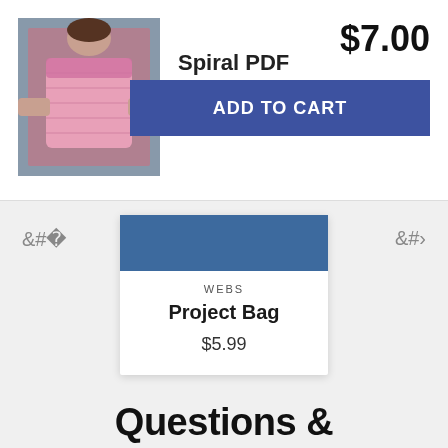[Figure (photo): Product image of a pink knitted bag held by a person]
Spiral PDF
$7.00
ADD TO CART
[Figure (photo): Product card showing WEBS Project Bag]
WEBS
Project Bag
$5.99
Questions &